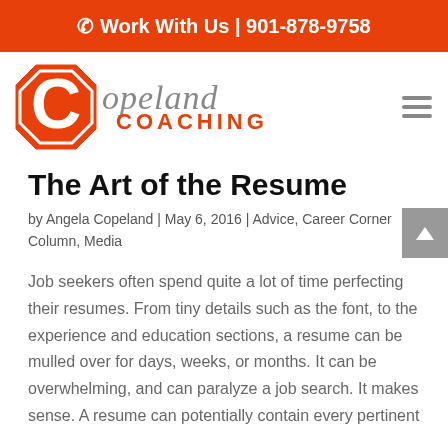Work With Us | 901-878-9758
[Figure (logo): Copeland Coaching logo with orange C and handwritten 'opeland' text with COACHING in orange below]
The Art of the Resume
by Angela Copeland | May 6, 2016 | Advice, Career Corner Column, Media
Job seekers often spend quite a lot of time perfecting their resumes. From tiny details such as the font, to the experience and education sections, a resume can be mulled over for days, weeks, or months. It can be overwhelming, and can paralyze a job search. It makes sense. A resume can potentially contain every pertinent